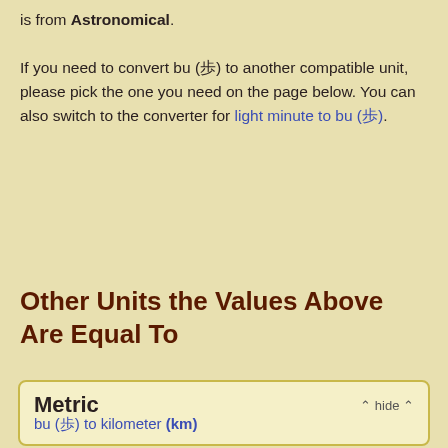is from Astronomical. If you need to convert bu (歩) to another compatible unit, please pick the one you need on the page below. You can also switch to the converter for light minute to bu (歩).
Other Units the Values Above Are Equal To
Metric  ᐱ hide ᐱ  bu (歩) to kilometer (km)